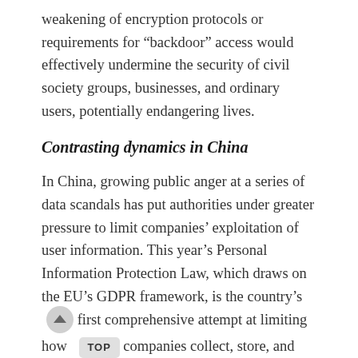weakening of encryption protocols or requirements for “backdoor” access would effectively undermine the security of civil society groups, businesses, and ordinary users, potentially endangering lives.
Contrasting dynamics in China
In China, growing public anger at a series of data scandals has put authorities under greater pressure to limit companies’ exploitation of user information. This year’s Personal Information Protection Law, which draws on the EU’s GDPR framework, is the country’s first comprehensive attempt at limiting how companies collect, store, and use personal data. A regulation introduced in March 2021 limited the types of data that apps can require from users. Regulators subsequently alleged that over 100 apps—including